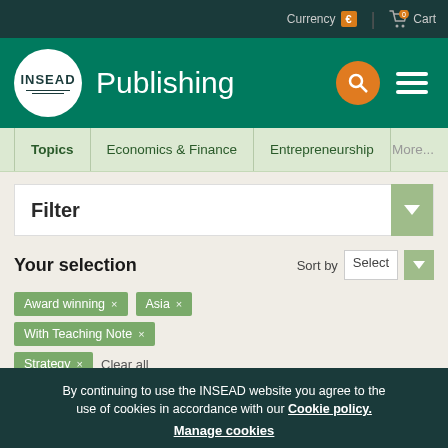Currency € | 0 Cart
[Figure (logo): INSEAD Publishing logo with white circle and green background header with search and menu icons]
Topics | Economics & Finance | Entrepreneurship | More...
Filter
Your selection
Sort by Select
Award winning x
Asia x
With Teaching Note x
Strategy x
Clear all
By continuing to use the INSEAD website you agree to the use of cookies in accordance with our Cookie policy. Manage cookies